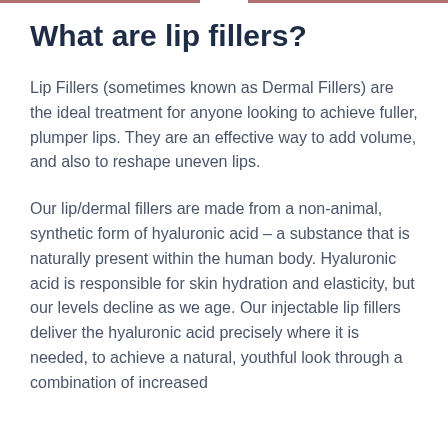What are lip fillers?
Lip Fillers (sometimes known as Dermal Fillers) are the ideal treatment for anyone looking to achieve fuller, plumper lips. They are an effective way to add volume, and also to reshape uneven lips.
Our lip/dermal fillers are made from a non-animal, synthetic form of hyaluronic acid – a substance that is naturally present within the human body. Hyaluronic acid is responsible for skin hydration and elasticity, but our levels decline as we age. Our injectable lip fillers deliver the hyaluronic acid precisely where it is needed, to achieve a natural, youthful look through a combination of increased